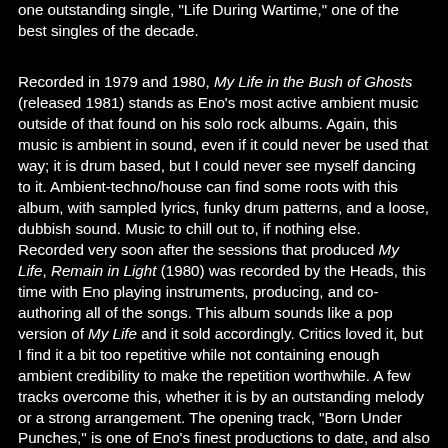one outstanding single, "Life During Wartime," one of the best singles of the decade.
Recorded in 1979 and 1980, My Life in the Bush of Ghosts (released 1981) stands as Eno's most active ambient music outside of that found on his solo rock albums. Again, this music is ambient in sound, even if it could never be used that way; it is drum based, but I could never see myself dancing to it. Ambient-techno/house can find some roots with this album, with sampled lyrics, funky drum patterns, and a loose, dubbish sound. Music to chill out to, if nothing else. Recorded very soon after the sessions that produced My Life, Remain in Light (1980) was recorded by the Heads, this time with Eno playing instruments, producing, and co-authoring all of the songs. This album sounds like a pop version of My Life and it sold accordingly. Critics loved it, but I find it a bit too repetitive while not containing enough ambient credibility to make the repetition worthwhile. A few tracks overcome this, whether it is by an outstanding melody or a strong arrangement. The opening track, "Born Under Punches," is one of Eno's finest productions to date, and also reminds the listener of earlier solo